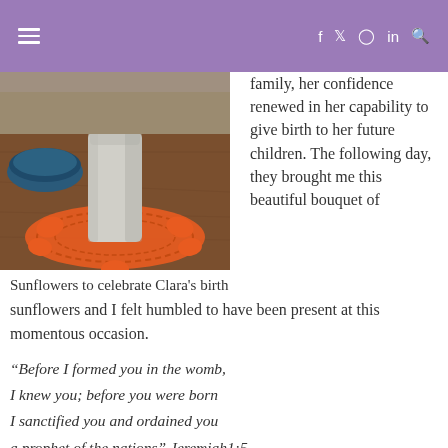≡   f  Twitter  Instagram  in  🔍
[Figure (photo): Photo of a table with a crocheted red doily, a white jar/vase, and a dark bowl on a wooden surface]
Sunflowers to celebrate Clara's birth
family, her confidence renewed in her capability to give birth to her future children. The following day, they brought me this beautiful bouquet of sunflowers and I felt humbled to have been present at this momentous occasion.
“Before I formed you in the womb,
I knew you; before you were born
I sanctified you and ordained you
a prophet of the nations” Jeremiah1:5
Share this: